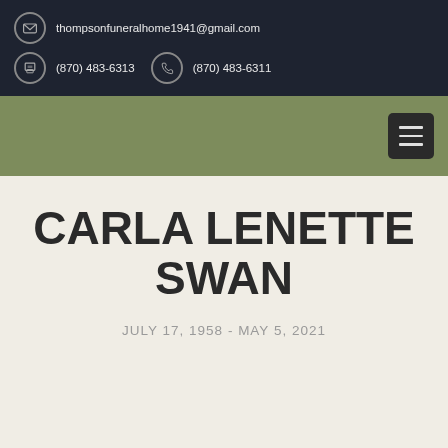thompsonfuneralhome1941@gmail.com
(870) 483-6313  (870) 483-6311
CARLA LENETTE SWAN
JULY 17, 1958 - MAY 5, 2021